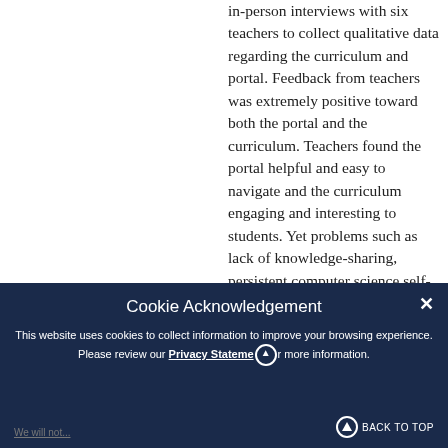in-person interviews with six teachers to collect qualitative data regarding the curriculum and portal. Feedback from teachers was extremely positive toward both the portal and the curriculum. Teachers found the portal helpful and easy to navigate and the curriculum engaging and interesting to students. Yet problems such as lack of knowledge-sharing, persistent computer science self-efficacy concerns, and the need for more research training
[Figure (screenshot): Cookie Acknowledgement overlay banner on a dark navy blue background. Title: 'Cookie Acknowledgement'. Body text: 'This website uses cookies to collect information to improve your browsing experience. Please review our Privacy Statement for more information.' Close button (X) in top-right. Back to Top button with circular icon at bottom-right.]